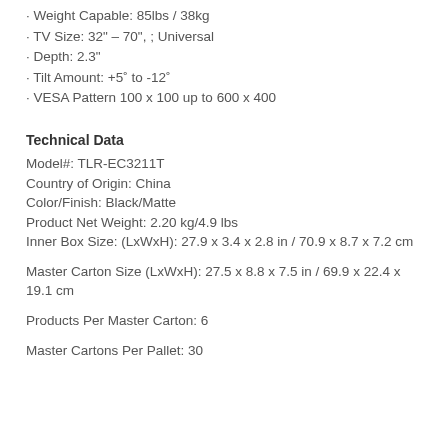• Weight Capable: 85lbs / 38kg
• TV Size: 32" – 70", ; Universal
• Depth: 2.3"
• Tilt Amount: +5˚ to -12˚
• VESA Pattern 100 x 100 up to 600 x 400
Technical Data
Model#: TLR-EC3211T
Country of Origin: China
Color/Finish: Black/Matte
Product Net Weight: 2.20 kg/4.9 lbs
Inner Box Size: (LxWxH): 27.9 x 3.4 x 2.8 in / 70.9 x 8.7 x 7.2 cm
Master Carton Size (LxWxH): 27.5 x 8.8 x 7.5 in / 69.9 x 22.4 x 19.1 cm
Products Per Master Carton: 6
Master Cartons Per Pallet: 30